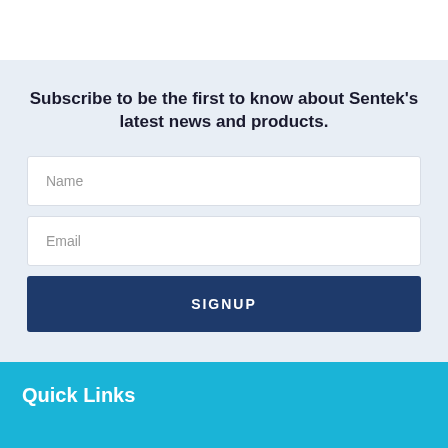Subscribe to be the first to know about Sentek's latest news and products.
Name
Email
SIGNUP
Quick Links